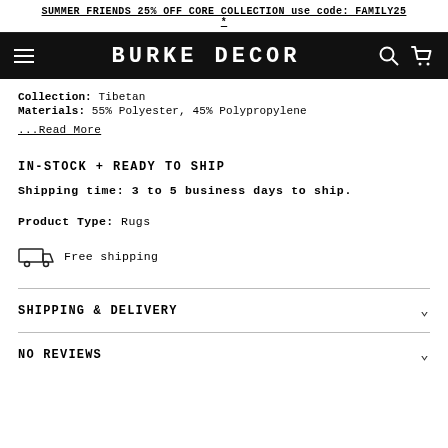SUMMER FRIENDS 25% OFF CORE COLLECTION use code: FAMILY25 *
BURKE DECOR
Collection: Tibetan
Materials: 55% Polyester, 45% Polypropylene
...Read More
IN-STOCK + READY TO SHIP
Shipping time: 3 to 5 business days to ship.
Product Type: Rugs
Free shipping
SHIPPING & DELIVERY
NO REVIEWS